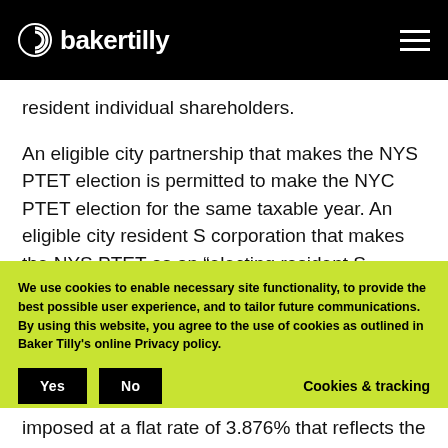bakertilly
resident individual shareholders.
An eligible city partnership that makes the NYS PTET election is permitted to make the NYC PTET election for the same taxable year. An eligible city resident S corporation that makes the NYS PTET as an “electing resident S corporation” is
We use cookies to enable necessary site functionality, to provide the best possible user experience, and to tailor future communications. By using this website, you agree to the use of cookies as outlined in Baker Tilly's online Privacy policy.
imposed at a flat rate of 3.876% that reflects the